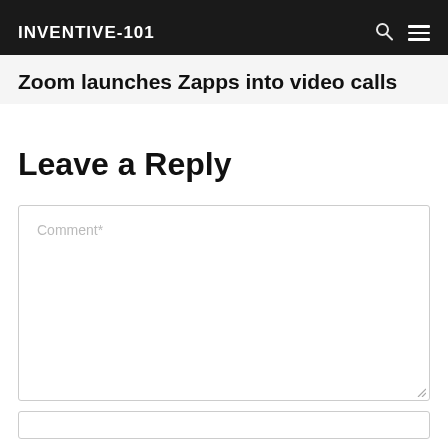INVENTIVE-101
Zoom launches Zapps into video calls
Leave a Reply
Comment*